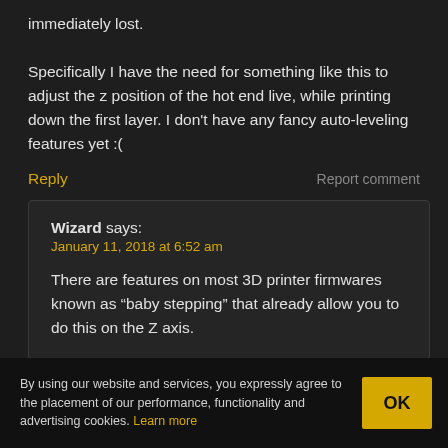immediately lost.
Specifically I have the need for something like this to adjust the z position of the hot end live, while printing down the first layer. I don't have any fancy auto-leveling features yet :(
Reply
Report comment
Wizard says:
January 11, 2018 at 6:52 am
There are features on most 3D printer firmwares known as “baby stepping” that already allow you to do this on the Z axis.
By using our website and services, you expressly agree to the placement of our performance, functionality and advertising cookies. Learn more